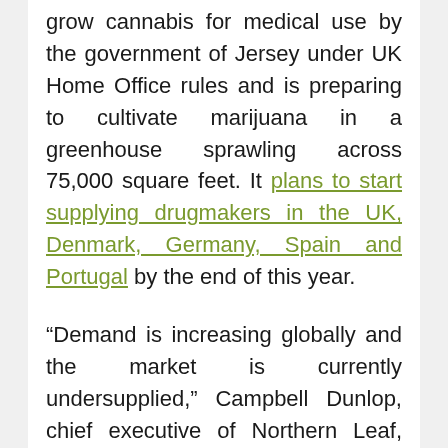grow cannabis for medical use by the government of Jersey under UK Home Office rules and is preparing to cultivate marijuana in a greenhouse sprawling across 75,000 square feet. It plans to start supplying drugmakers in the UK, Denmark, Germany, Spain and Portugal by the end of this year.
“Demand is increasing globally and the market is currently undersupplied,” Campbell Dunlop, chief executive of Northern Leaf, told the Financial Times.
Northern Leaf, which was founded two years ago and received its permit in December, is the second only company to be granted a UK license for commercial marijuana cultivation.